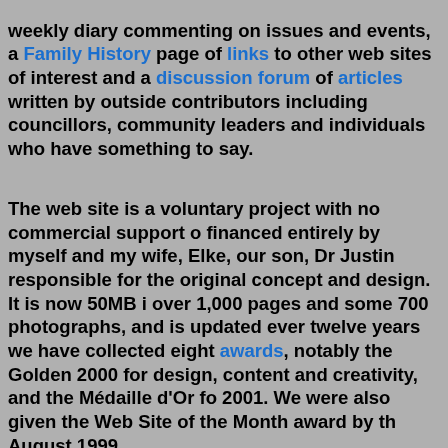weekly diary commenting on issues and events, a Family History page of links to other web sites of interest and a discussion forum of articles written by outside contributors including councillors, community leaders and individuals who have something to say.
The web site is a voluntary project with no commercial support financed entirely by myself and my wife, Elke, our son, Dr Justin responsible for the original concept and design. It is now 50MB i over 1,000 pages and some 700 photographs, and is updated ever twelve years we have collected eight awards, notably the Golden 2000 for design, content and creativity, and the Médaille d'Or fo 2001. We were also given the Web Site of the Month award by th August 1999.
Many young people find valuable information here because I am pupils engaged on school projects or examinations relating to Bo and I try to assist wherever possible. The information I have alre least pointed the inquirers in the right direction, must be the stu submitted at all of our local schools. We are also consulted by ma Britain and abroad, who are studying the way of life in England emails requesting information and the use of text and photograp answered.
The web site now attracts around 2,000 visitors a week, many fr and has not only reunited families, but has also enabled many pe